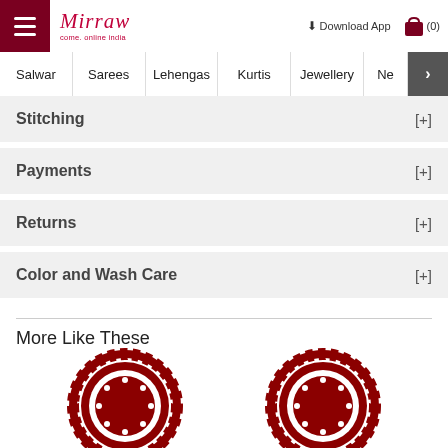Mirraw — come, online india | Download App | Cart (0)
Salwar | Sarees | Lehengas | Kurtis | Jewellery | Ne >
Stitching [+]
Payments [+]
Returns [+]
Color and Wash Care [+]
More Like These
[Figure (illustration): Two circular mandala/rosette badge decorative icons in dark red/maroon color, used as product image placeholders]
[Figure (illustration): Circular mandala/rosette badge decorative icon in dark red/maroon color]